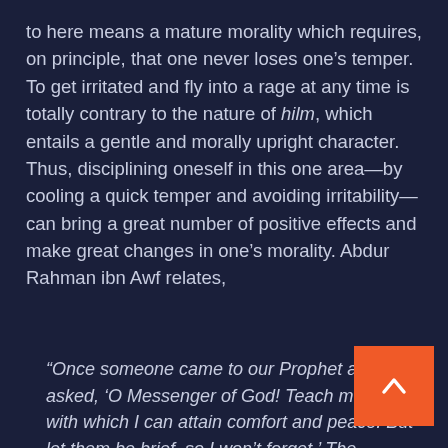to here means a mature morality which requires, on principle, that one never loses one’s temper. To get irritated and fly into a rage at any time is totally contrary to the nature of hilm, which entails a gentle and morally upright character. Thus, disciplining oneself in this one area—by cooling a quick temper and avoiding irritability—can bring a great number of positive effects and make great changes in one’s morality. Abdur Rahman ibn Awf relates,
“Once someone came to our Prophet and asked, ‘O Messenger of God! Teach me words with which I can attain comfort and peace. But let them be brief, so I won’t forget.’ The